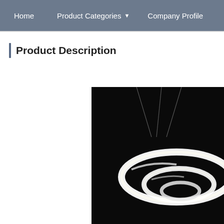Home   Product Categories ▼   Company Profile
Product Description
[Figure (other): Row of broken image placeholder icons with green landscape thumbnails]
[Figure (other): Row of broken image placeholder icons with green landscape thumbnails]
[Figure (photo): Photo of circular LED chandelier/ring light against black background]